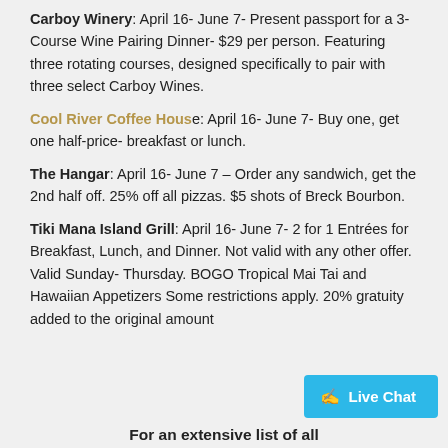Carboy Winery: April 16- June 7- Present passport for a 3-Course Wine Pairing Dinner- $29 per person. Featuring three rotating courses, designed specifically to pair with three select Carboy Wines.
Cool River Coffee House: April 16- June 7- Buy one, get one half-price- breakfast or lunch.
The Hangar: April 16- June 7 – Order any sandwich, get the 2nd half off. 25% off all pizzas. $5 shots of Breck Bourbon.
Tiki Mana Island Grill: April 16- June 7- 2 for 1 Entrées for Breakfast, Lunch, and Dinner. Not valid with any other offer. Valid Sunday- Thursday. BOGO Tropical Mai Tai and Hawaiian Appetizers Some restrictions apply. 20% gratuity added to the original amount
For an extensive list of all